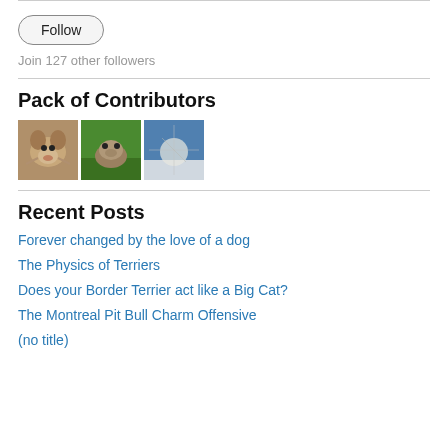Follow
Join 127 other followers
Pack of Contributors
[Figure (photo): Three small contributor thumbnail photos: a terrier dog, a groundhog in grass, and a dandelion/sky scene]
Recent Posts
Forever changed by the love of a dog
The Physics of Terriers
Does your Border Terrier act like a Big Cat?
The Montreal Pit Bull Charm Offensive
(no title)